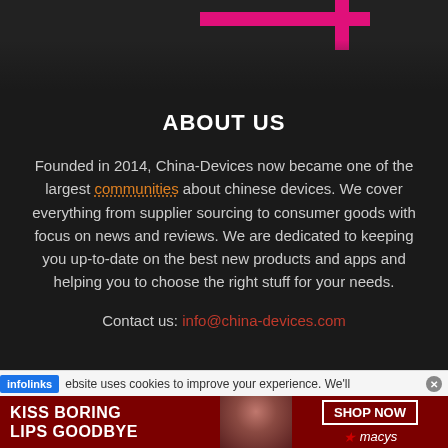[Figure (screenshot): Dark background with pink/magenta UI bar elements at top]
ABOUT US
Founded in 2014, China-Devices now became one of the largest communities about chinese devices. We cover everything from supplier sourcing to consumer goods with focus on news and reviews. We are dedicated to keeping you up-to-date on the best new products and apps and helping you to choose the right stuff for your needs.
Contact us: info@china-devices.com
infolinks ebsite uses cookies to improve your experience. We'll
[Figure (photo): Macy's advertisement banner: KISS BORING LIPS GOODBYE with woman's face and SHOP NOW button with Macy's star logo]